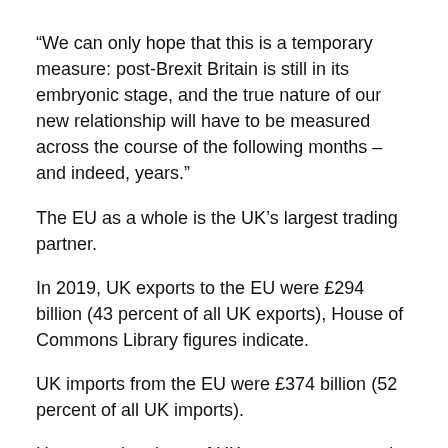“We can only hope that this is a temporary measure: post-Brexit Britain is still in its embryonic stage, and the true nature of our new relationship will have to be measured across the course of the following months – and indeed, years.”
The EU as a whole is the UK’s largest trading partner.
In 2019, UK exports to the EU were £294 billion (43 percent of all UK exports), House of Commons Library figures indicate.
UK imports from the EU were £374 billion (52 percent of all UK imports).
However, the share of UK exports accounted for by the EU has generally fallen over time from 54 percent n 2002 to 43 percent in 2019.